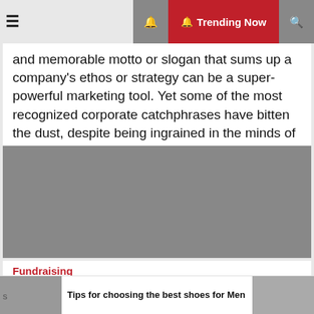≡  🔔 Trending Now 🔍
and memorable motto or slogan that sums up a company's ethos or strategy can be a super-powerful marketing tool. Yet some of the most recognized corporate catchphrases have bitten the dust, despite being ingrained in the minds of millions of people around [...]
[Figure (photo): Gray placeholder image for an article]
Fundraising
D.C. fundraising group takes aim at
[Figure (photo): Small thumbnail image on left side of bottom strip]
Tips for choosing the best shoes for Men
[Figure (photo): Small thumbnail image on right side of bottom strip]